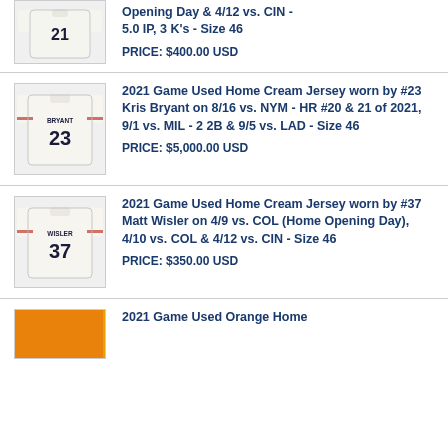Opening Day & 4/12 vs. CIN - 5.0 IP, 3 K's - Size 46
PRICE: $400.00 USD
[Figure (photo): Baseball jersey #23 Bryant, cream home jersey]
2021 Game Used Home Cream Jersey worn by #23 Kris Bryant on 8/16 vs. NYM - HR #20 & 21 of 2021, 9/1 vs. MIL - 2 2B & 9/5 vs. LAD - Size 46
PRICE: $5,000.00 USD
[Figure (photo): Baseball jersey #37 Wisler, cream home jersey]
2021 Game Used Home Cream Jersey worn by #37 Matt Wisler on 4/9 vs. COL (Home Opening Day), 4/10 vs. COL & 4/12 vs. CIN - Size 46
PRICE: $350.00 USD
[Figure (photo): Baseball jersey, orange home jersey]
2021 Game Used Orange Home